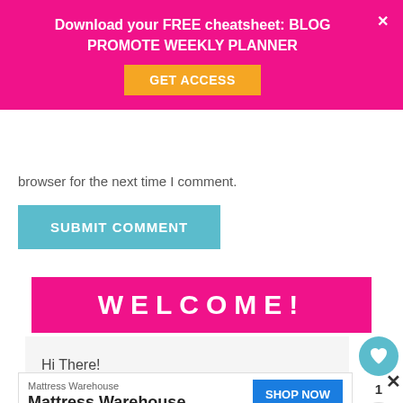Download your FREE cheatsheet: BLOG PROMOTE WEEKLY PLANNER
GET ACCESS
browser for the next time I comment.
SUBMIT COMMENT
WELCOME!
Hi There!
I'm Dee Dee! I'm here to help learn ways to chase more out of life!
Mattress Warehouse
Mattress Warehouse
SHOP NOW